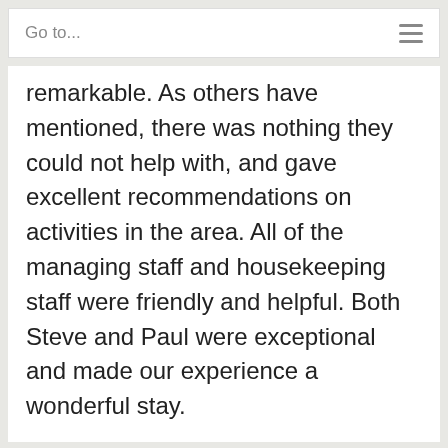Go to...
remarkable. As others have mentioned, there was nothing they could not help with, and gave excellent recommendations on activities in the area. All of the managing staff and housekeeping staff were friendly and helpful. Both Steve and Paul were exceptional and made our experience a wonderful stay.
We use cookies on our website to give you the most relevant experience by remembering your preferences and repeat visits. By clicking “Accept”, you consent to the use of ALL the cookies.
Do not sell my personal information.
Cookie Settings  Accept